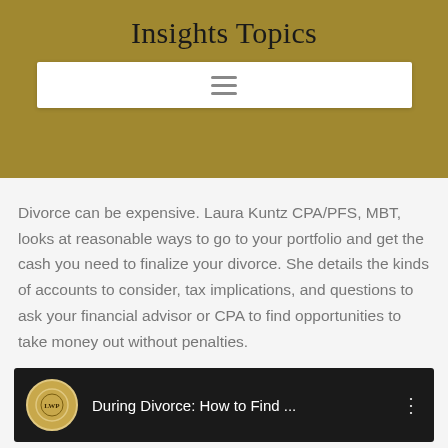Insights Topics
[Figure (screenshot): Navigation menu bar with hamburger icon (three horizontal lines) on gold background]
Divorce can be expensive. Laura Kuntz CPA/PFS, MBT, looks at reasonable ways to go to your portfolio and get the cash you need to finalize your divorce. She details the kinds of accounts to consider, tax implications, and questions to ask your financial advisor or CPA to find opportunities to take money out without penalties.
[Figure (screenshot): Video thumbnail showing LWP logo circle and title 'During Divorce: How to Find ...' with three-dot menu on dark background]